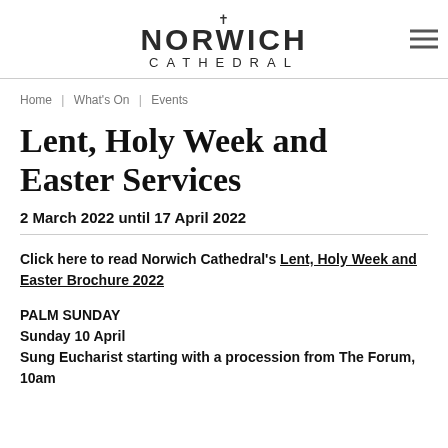NORWICH CATHEDRAL
Home | What's On | Events
Lent, Holy Week and Easter Services
2 March 2022 until 17 April 2022
Click here to read Norwich Cathedral's Lent, Holy Week and Easter Brochure 2022
PALM SUNDAY
Sunday 10 April
Sung Eucharist starting with a procession from The Forum, 10am